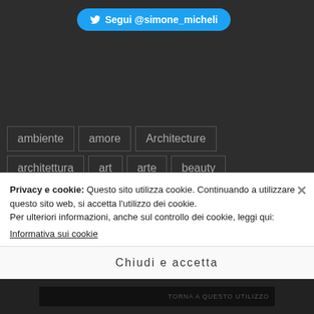[Figure (other): Twitter Follow button for @simone_micheli with blue rounded background and bird icon]
ambiente
amore
Architecture
architettura
art
arte
beauty
bellezza
Blog
comunicazione
contemporaneo
design
domani
etica
exhibition
famiglia
firenze
Privacy e cookie: Questo sito utilizza cookie. Continuando a utilizzare questo sito web, si accetta l'utilizzo dei cookie.
Per ulteriori informazioni, anche sul controllo dei cookie, leggi qui:
Informativa sui cookie
Chiudi e accetta